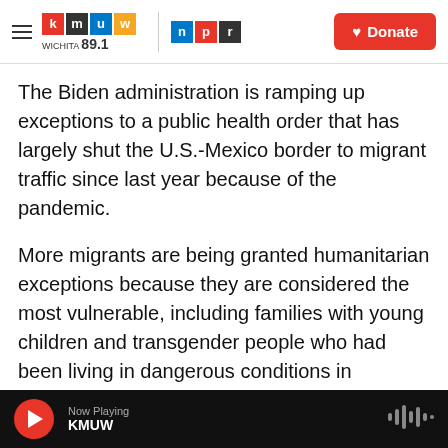KMUW WICHITA 89.1 | NPR | Donate
The Biden administration is ramping up exceptions to a public health order that has largely shut the U.S.-Mexico border to migrant traffic since last year because of the pandemic.
More migrants are being granted humanitarian exceptions because they are considered the most vulnerable, including families with young children and transgender people who had been living in dangerous conditions in Mexican border towns.
This comes as the number of migrants apprehended at the southern border topped
Now Playing KMUW